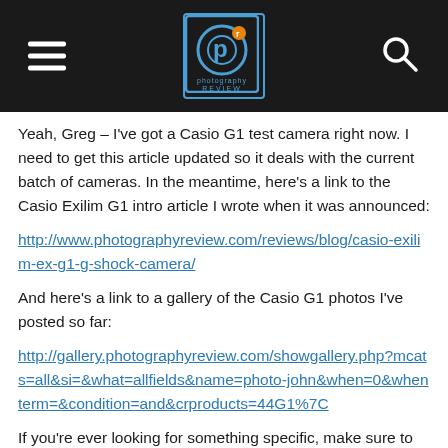Photography Review header with logo, hamburger menu, and search icon
Yeah, Greg – I've got a Casio G1 test camera right now. I need to get this article updated so it deals with the current batch of cameras. In the meantime, here's a link to the Casio Exilim G1 intro article I wrote when it was announced:
http://www.photographyreview.com/reviews/blog/casio-exilim-ex-g1-g-shock-camera/
And here's a link to a gallery of the Casio G1 photos I've posted so far:
http://gallery.photographyreview.com/showgallery.php?mcats=all&si=&what=allfields&name=photo-john&when=0&whenterm=&condition=and&crproducts=44G1%7C
If you're ever looking for something specific, make sure to use the search at the top of the page or the category links in the right-hand column on this page. The Casio category or the underwater category both would have